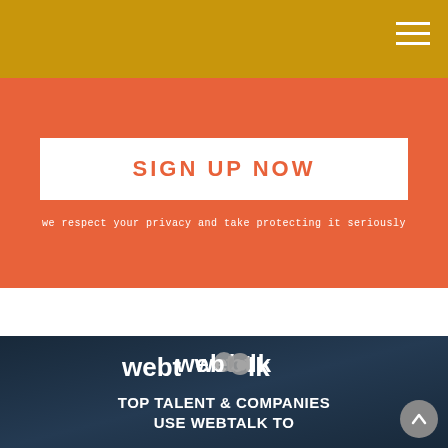SIGN UP NOW
we respect your privacy and take protecting it seriously
[Figure (logo): Webtalk promotional banner with logo text 'webtalk' and tagline 'TOP TALENT & COMPANIES USE WEBTALK TO' on dark blue background]